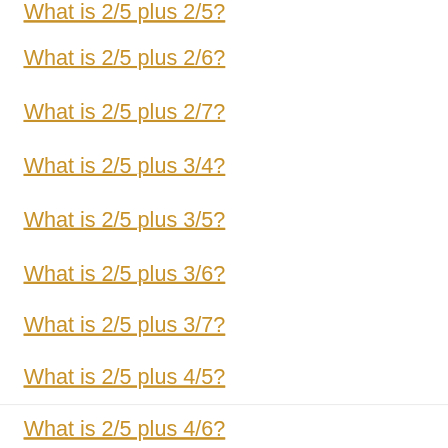What is 2/5 plus 2/5?
What is 2/5 plus 2/6?
What is 2/5 plus 2/7?
What is 2/5 plus 3/4?
What is 2/5 plus 3/5?
What is 2/5 plus 3/6?
What is 2/5 plus 3/7?
What is 2/5 plus 4/5?
What is 2/5 plus 4/6?